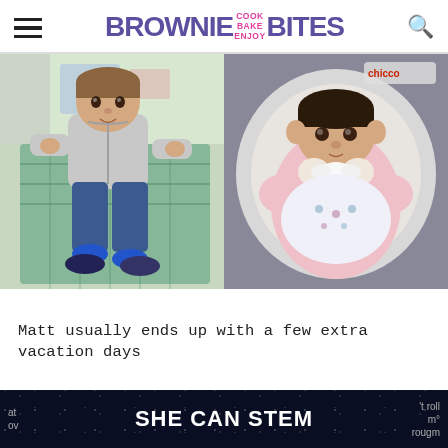BROWNIE COOK BAKE ENJOY BITES
[Figure (photo): Two photos side by side: left shows a young toddler boy sitting in a shopping cart wearing a gray hoodie and jeans with blue socks; right shows a newborn baby girl in a pink outfit sitting in a Chicco car seat holding a small white item.]
Matt usually ends up with a few extra vacation days
[Figure (infographic): Dark blue/navy banner at the bottom with the text 'SHE CAN STEM' in large bold white letters, with partial text visible on left ('at', 'ov') and right ('t roll', 'm°', 'rougm') sides, star/space background effect.]